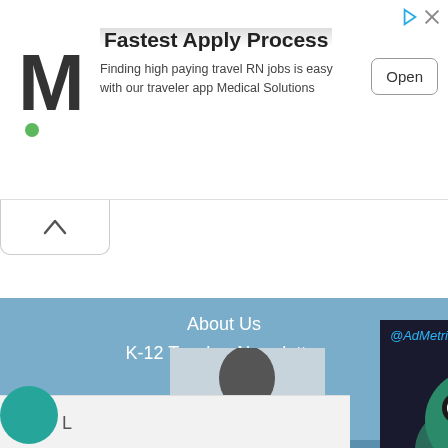[Figure (screenshot): Ad banner for Medical Solutions with M logo, 'Fastest Apply Process' heading, subtitle about travel RN jobs, and Open button]
Fastest Apply Process
Finding high paying travel RN jobs is easy with our traveler app Medical Solutions
About Us
K-12 Teacher Newsletter
Help
Privacy
Site Map
© Copyright Owned By- Teachnology, Inc - All Rights
[Figure (screenshot): AdMetricsPro dark video overlay showing animated monster character and geometric logo shapes with a close button]